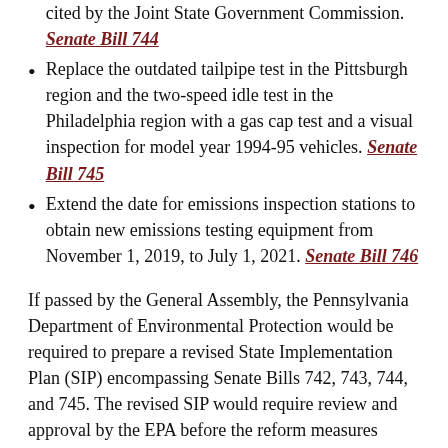cited by the Joint State Government Commission. Senate Bill 744
Replace the outdated tailpipe test in the Pittsburgh region and the two-speed idle test in the Philadelphia region with a gas cap test and a visual inspection for model year 1994-95 vehicles. Senate Bill 745
Extend the date for emissions inspection stations to obtain new emissions testing equipment from November 1, 2019, to July 1, 2021. Senate Bill 746
If passed by the General Assembly, the Pennsylvania Department of Environmental Protection would be required to prepare a revised State Implementation Plan (SIP) encompassing Senate Bills 742, 743, 744, and 745. The revised SIP would require review and approval by the EPA before the reform measures would take effect